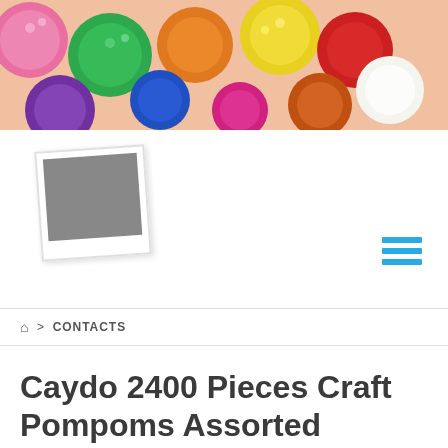[Figure (photo): Colorful craft pompoms banner image — assorted bright colors including pink, green, orange, red, yellow, purple, white pompoms clustered together]
[Figure (photo): Placeholder image icon showing a grey square with white border, representing a missing or unloaded image]
⌂ > CONTACTS
Caydo 2400 Pieces Craft Pompoms Assorted Colors 6 mm for Hobby